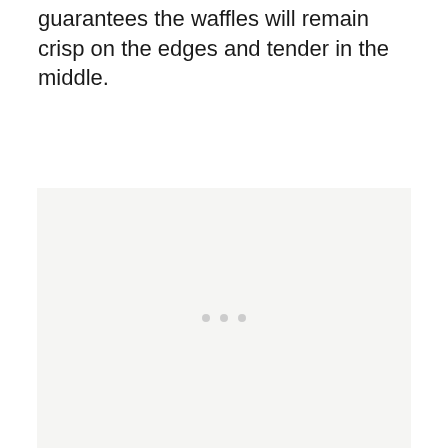guarantees the waffles will remain crisp on the edges and tender in the middle.
[Figure (photo): A large light gray placeholder image area with three small gray dots centered near the bottom third of the box, indicating an image is loading or unavailable.]